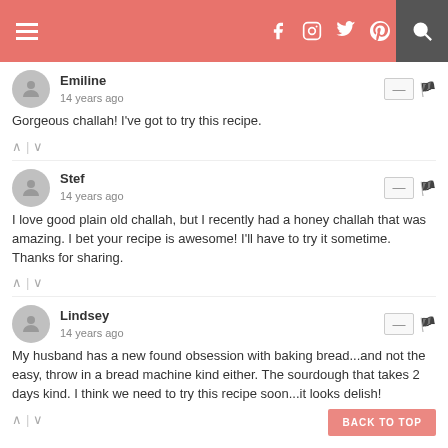Navigation header with hamburger menu, social icons (Facebook, Instagram, Twitter, Pinterest), and search
Emiline · 14 years ago · Gorgeous challah! I've got to try this recipe.
Stef · 14 years ago · I love good plain old challah, but I recently had a honey challah that was amazing. I bet your recipe is awesome! I'll have to try it sometime. Thanks for sharing.
Lindsey · 14 years ago · My husband has a new found obsession with baking bread...and not the easy, throw in a bread machine kind either. The sourdough that takes 2 days kind. I think we need to try this recipe soon...it looks delish!